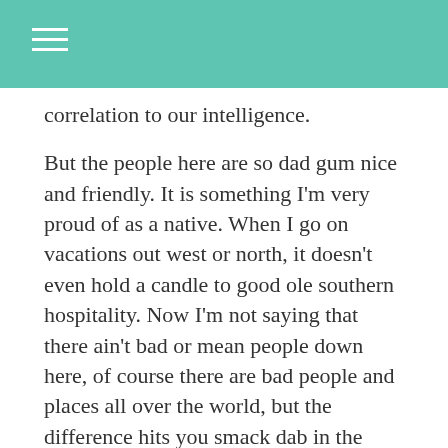correlation to our intelligence.

But the people here are so dad gum nice and friendly. It is something I'm very proud of as a native. When I go on vacations out west or north, it doesn't even hold a candle to good ole southern hospitality. Now I'm not saying that there ain't bad or mean people down here, of course there are bad people and places all over the world, but the difference hits you smack dab in the face when you notice it. 9/10 people will be joyed to help you out